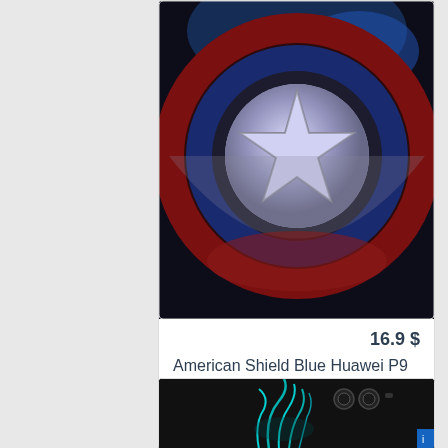[Figure (photo): Captain America shield with blue and red circular design and silver star, on a dark background — phone case art]
16.9 $
American Shield Blue Huawei P9 case
[Figure (photo): Huawei P9 phone case with dark background and teal glowing abstract design]